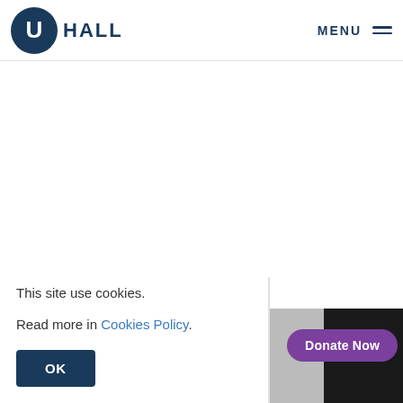HALL — MENU
This site use cookies.

Read more in Cookies Policy.
OK
[Figure (photo): Partial view of two image panels: a gray/concrete-toned image on the left and a dark/black image on the right, partially visible at bottom right of the page.]
Donate Now